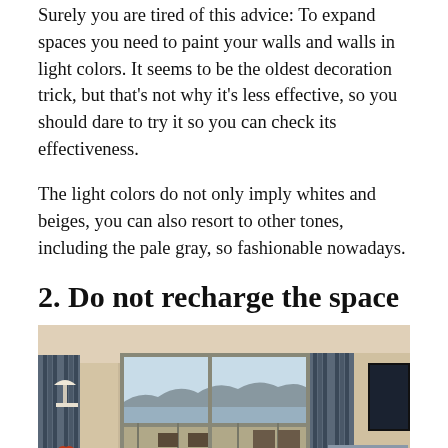Surely you are tired of this advice: To expand spaces you need to paint your walls and walls in light colors. It seems to be the oldest decoration trick, but that's not why it's less effective, so you should dare to try it so you can check its effectiveness.
The light colors do not only imply whites and beiges, you can also resort to other tones, including the pale gray, so fashionable nowadays.
2. Do not recharge the space
[Figure (photo): Interior photo of a hotel or apartment room with large sliding glass doors/balcony, blue-gray drapes, a wall-mounted flat-screen TV on the right, a lamp, chairs, and a view of a city and water outside.]